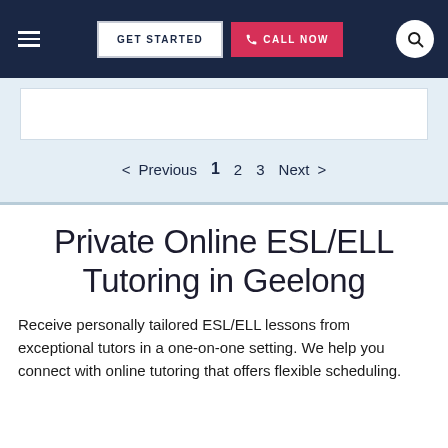GET STARTED | CALL NOW
< Previous 1 2 3 Next >
Private Online ESL/ELL Tutoring in Geelong
Receive personally tailored ESL/ELL lessons from exceptional tutors in a one-on-one setting. We help you connect with online tutoring that offers flexible scheduling.